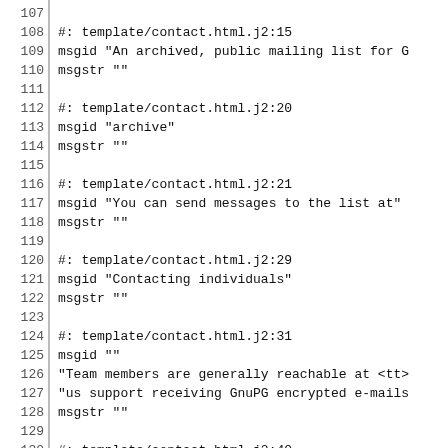Code listing lines 107-136 showing gettext/po file entries for template/contact.html.j2